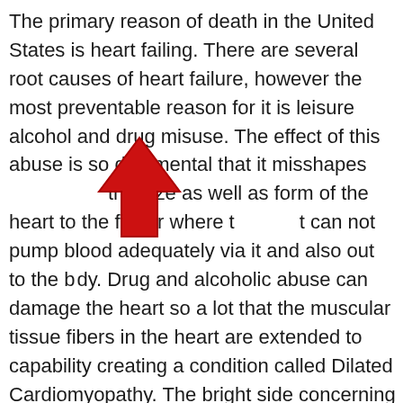The primary reason of death in the United States is heart failing. There are several root causes of heart failure, however the most preventable reason for it is leisure alcohol and drug misuse. The effect of this abuse is so detrimental that it misshapes the size as well as form of the heart to the factor where the heart can not pump blood adequately via it and also out to the body. Drug and alcoholic abuse can damage the heart so a lot that the muscular tissue fibers in the heart are extended to capability creating a condition called Dilated Cardiomyopathy. The bright side concerning this condition is that it is relatively easy to fix with stopped use entertainment alcohol and drugs. Regrettably, long-term use them can trigger irreversible damage. The most effective advice doctors can give people is to consume foods from every food group, drink plenty water, exercise daily, and also do not add contaminants from medications and alcohol to your body to hurt it.
[Figure (illustration): A red upward-pointing arrow overlaid on the text, positioned around the words 'the heart' in the paragraph.]